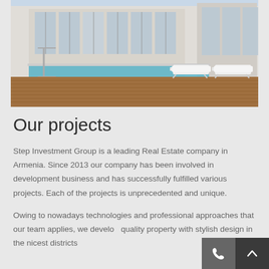[Figure (photo): Outdoor pool area with wooden deck and lounge chairs, modern building with large glass windows in background, blue sky]
Our projects
Step Investment Group is a leading Real Estate company in Armenia. Since 2013 our company has been involved in development business and has successfully fulfilled various projects. Each of the projects is unprecedented and unique.
Owing to nowadays technologies and professional approaches that our team applies, we develop quality property with stylish design in the nicest districts